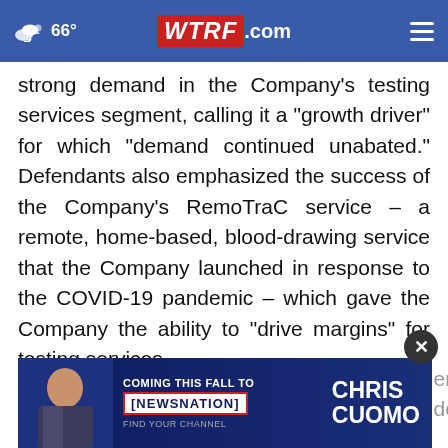66° WTRF.com
strong demand in the Company's testing services segment, calling it a "growth driver" for which "demand continued unabated." Defendants also emphasized the success of the Company's RemoTraC service – a remote, home-based, blood-drawing service that the Company launched in response to the COVID-19 pandemic – which gave the Company the ability to "drive margins" for testing services.
[Figure (screenshot): Advertisement banner for Chris Cuomo Coming This Fall to NewsNation with close button]
However, during the Class Period, defendants had engaged in a variety of